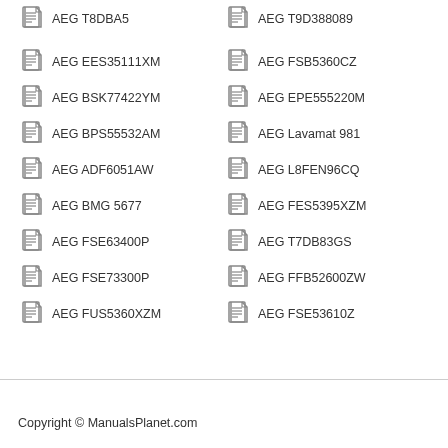AEG T8DBA5
AEG T9D388089
AEG EES35111XM
AEG FSB5360CZ
AEG BSK77422YM
AEG EPE555220M
AEG BPS55532AM
AEG Lavamat 981
AEG ADF6051AW
AEG L8FEN96CQ
AEG BMG 5677
AEG FES5395XZM
AEG FSE63400P
AEG T7DB83GS
AEG FSE73300P
AEG FFB52600ZW
AEG FUS5360XZM
AEG FSE53610Z
Copyright © ManualsPlanet.com